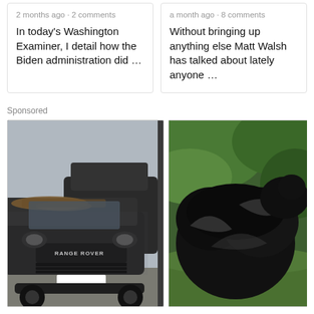2 months ago • 2 comments
In today's Washington Examiner, I detail how the Biden administration did …
a month ago • 8 comments
Without bringing up anything else Matt Walsh has talked about lately anyone …
Sponsored
[Figure (photo): A dirty black Range Rover Evoque SUV covered in dust and debris, parked in a lot with another dark vehicle behind it.]
Ashburn: Unsold Never-Driven SUVs
[Figure (photo): A large black animal (appears to be a large black sheep or similar) in a green grassy area with foliage in the background.]
Family Thoug